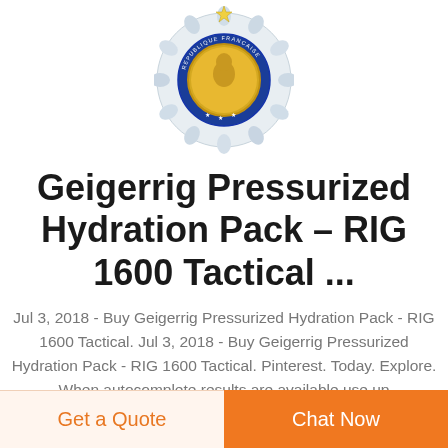[Figure (illustration): A French Republic (Republique Francaise) official medal/badge with gold coin center depicting a profile portrait, surrounded by a blue enamel ring and silver laurel wreath decoration.]
Geigerrig Pressurized Hydration Pack – RIG 1600 Tactical ...
Jul 3, 2018 - Buy Geigerrig Pressurized Hydration Pack - RIG 1600 Tactical. Jul 3, 2018 - Buy Geigerrig Pressurized Hydration Pack - RIG 1600 Tactical. Pinterest. Today. Explore. When autocomplete results are available use up
Get a Quote
Chat Now